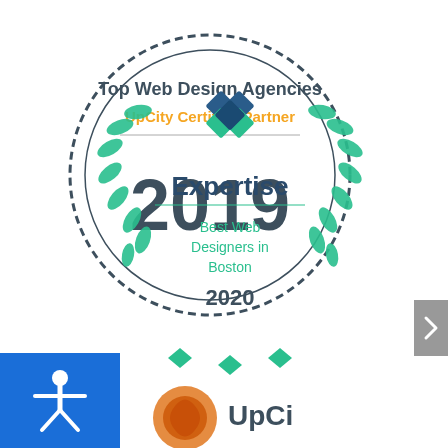[Figure (logo): UpCity Top Web Design Agencies Certified Partner 2019 badge - circular seal with dashed border showing the year 2019]
[Figure (logo): Expertise Best Web Designers in Boston 2020 badge - teal laurel wreath with diamond logo and teal text]
[Figure (logo): Partial UpCity logo at bottom of page with orange swirl icon and UpCity text partially visible]
[Figure (other): Blue accessibility button with white person/wheelchair icon in bottom left corner]